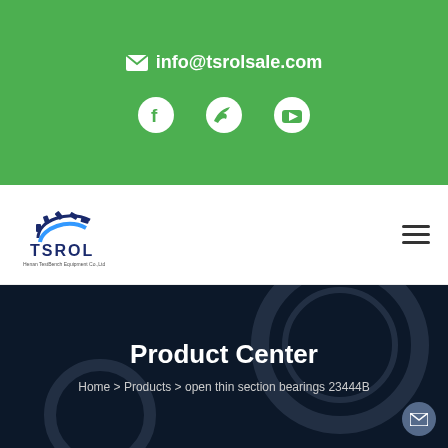info@tsrolsale.com
[Figure (logo): TSROL company logo with gear icon]
Product Center
Home > Products > open thin section bearings 23444B